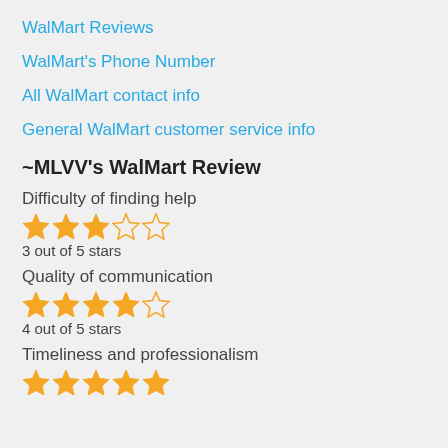WalMart Reviews
WalMart's Phone Number
All WalMart contact info
General WalMart customer service info
~MLVV's WalMart Review
Difficulty of finding help
[Figure (other): 3 out of 5 stars rating — 3 filled stars and 2 empty stars]
3 out of 5 stars
Quality of communication
[Figure (other): 4 out of 5 stars rating — 4 filled stars and 1 empty star]
4 out of 5 stars
Timeliness and professionalism
[Figure (other): 5 out of 5 stars rating — 5 filled stars]